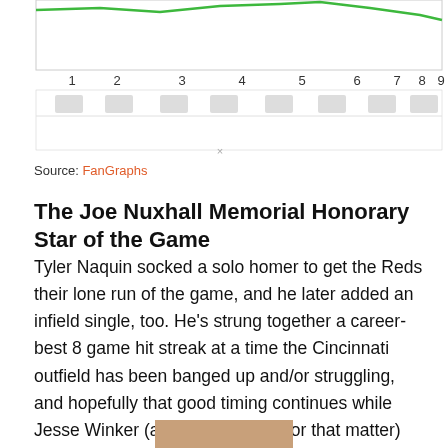[Figure (continuous-plot): Line chart showing game-by-game data across innings 1-9, with a green line in the upper portion and a lower panel with gray shading. The top panel shows axis ticks labeled 1 through 9.]
Source: FanGraphs
The Joe Nuxhall Memorial Honorary Star of the Game
Tyler Naquin socked a solo homer to get the Reds their lone run of the game, and he later added an infield single, too. He's strung together a career-best 8 game hit streak at a time the Cincinnati outfield has been banged up and/or struggling, and hopefully that good timing continues while Jesse Winker (and Nick Senzel, for that matter) are on the sidelines.
[Figure (photo): Partial photo strip at the bottom of the page, cropped and showing crowd/players.]